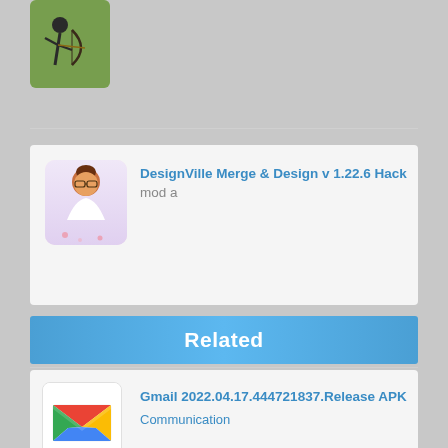[Figure (screenshot): Archery game app icon - person with bow]
DesignVille Merge & Design v 1.22.6 Hack mod a
[Figure (illustration): DesignVille app icon - cartoon woman with brown hair and glasses]
Related
Gmail 2022.04.17.444721837.Release APK
Communication
[Figure (logo): Gmail M logo in red, blue, yellow, green]
Earthquake Network PRO 12.4.28 APK Paid
Communication